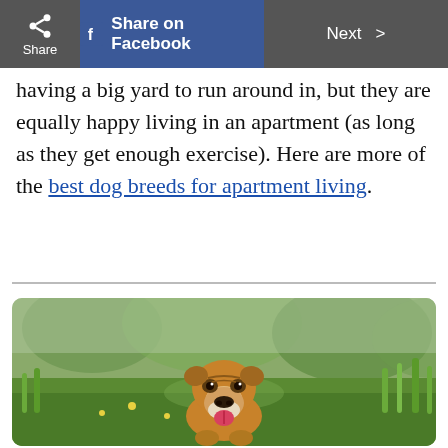Share | Share on Facebook | Next >
having a big yard to run around in, but they are equally happy living in an apartment (as long as they get enough exercise). Here are more of the best dog breeds for apartment living.
[Figure (photo): A bulldog with brown and white coloring running through green grass in an outdoor field, tongue out, with blurred green trees in the background.]